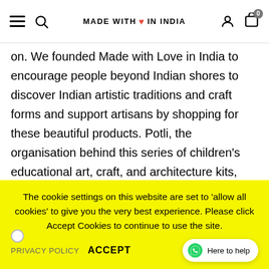MADE WITH ♥ IN INDIA
on. We founded Made with Love in India to encourage people beyond Indian shores to discover Indian artistic traditions and craft forms and support artisans by shopping for these beautiful products. Potli, the organisation behind this series of children's educational art, craft, and architecture kits, was founded over a decade ago in India with the aim to reconnect children with Indian heritage through traditional art, craft, and history. Potli aims to create awareness and expand markets for artisan communities that depend on their art form for livelihood. Made with Love in India and Potli's collaboration is a marriage made in heaven and we're just getting started!
The cookie settings on this website are set to 'allow all cookies' to give you the very best experience. Please click Accept Cookies to continue to use the site.
PRIVACY POLICY   ACCEPT